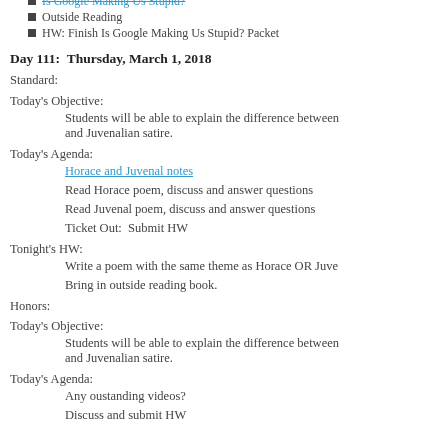Is Google Making Us Stupid? (strikethrough link)
Outside Reading
HW:  Finish Is Google Making Us Stupid? Packet
Day 111:  Thursday, March 1, 2018
Standard:
Today's Objective:
Students will be able to explain the difference between and Juvenalian satire.
Today's Agenda:
Horace and Juvenal notes
Read Horace poem, discuss and answer questions
Read Juvenal poem, discuss and answer questions
Ticket Out:  Submit HW
Tonight's HW:
Write a poem with the same theme as Horace OR Juve
Bring in outside reading book.
Honors:
Today's Objective:
Students will be able to explain the difference between and Juvenalian satire.
Today's Agenda:
Any oustanding videos?
Discuss and submit HW